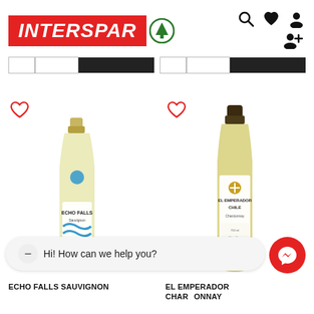[Figure (logo): INTERSPAR logo with red background and green tree symbol]
[Figure (screenshot): Navigation icons: search, heart/wishlist, user profile, add user]
[Figure (screenshot): Two tab/search bar groups with dark right sections]
[Figure (photo): Echo Falls Sauvignon Blanc wine bottle with blue wave label]
[Figure (photo): El Emperador Chile Chardonnay wine bottle with white label]
Hi! How can we help you?
ECHO FALLS SAUVIGNON
EL EMPERADOR CHARDONNAY